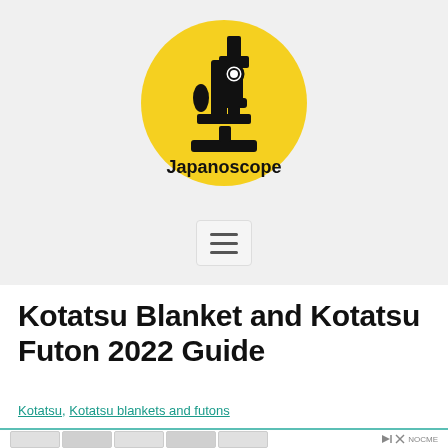[Figure (logo): Japanoscope logo: yellow circle with a black microscope illustration and the word 'Japanoscope' below in bold black text]
[Figure (other): Hamburger menu button (three horizontal lines) on a light gray rounded rectangle background]
Kotatsu Blanket and Kotatsu Futon 2022 Guide
Kotatsu, Kotatsu blankets and futons
[Figure (other): Advertisement banner strip with product images of bags and accessories, with NOCME brand label and skip/close icons]